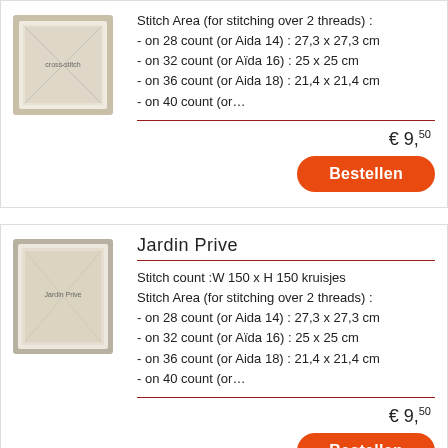[Figure (photo): Cross-stitch sampler in a frame, top product card]
Stitch Area (for stitching over 2 threads) :
- on 28 count (or Aida 14) : 27,3 x 27,3 cm
- on 32 count (or Aïda 16) : 25 x 25 cm
- on 36 count (or Aida 18) : 21,4 x 21,4 cm
- on 40 count (or…
€ 9,50
Bestellen
[Figure (photo): Cross-stitch sampler Jardin Prive in a frame]
Jardin Prive
Stitch count :W 150 x H 150 kruisjes
Stitch Area (for stitching over 2 threads) :
- on 28 count (or Aida 14) : 27,3 x 27,3 cm
- on 32 count (or Aïda 16) : 25 x 25 cm
- on 36 count (or Aida 18) : 21,4 x 21,4 cm
- on 40 count (or…
€ 9,50
Bestellen